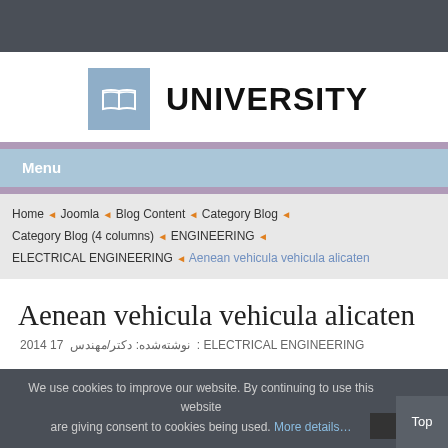[Figure (logo): University logo: blue square with open book icon and UNIVERSITY text]
Menu
Home ◄ Joomla ◄ Blog Content ◄ Category Blog ◄ Category Blog (4 columns) ◄ ENGINEERING ◄ ELECTRICAL ENGINEERING ◄ Aenean vehicula vehicula alicaten
Aenean vehicula vehicula alicaten
نوشته‌شده: دکتر/مهندس 2014 17 : ELECTRICAL ENGINEERING
We use cookies to improve our website. By continuing to use this website are giving consent to cookies being used. More details…